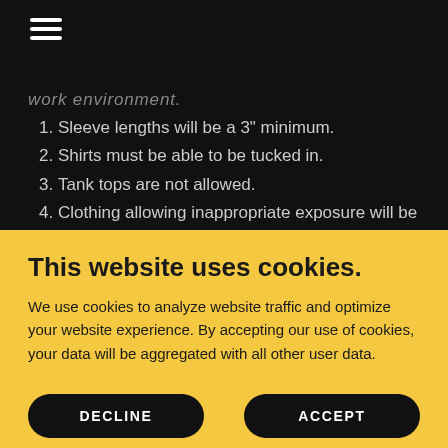[Figure (other): Hamburger menu icon (three white horizontal lines) on black background]
work environment.
1. Sleeve lengths will be a 3" minimum.
2. Shirts must be able to be tucked in.
3. Tank tops are not allowed.
4. Clothing allowing inappropriate exposure will be
This website uses cookies.
We use cookies to analyze website traffic and optimize your website experience. By accepting our use of cookies, your data will be aggregated with all other user data.
DECLINE
ACCEPT